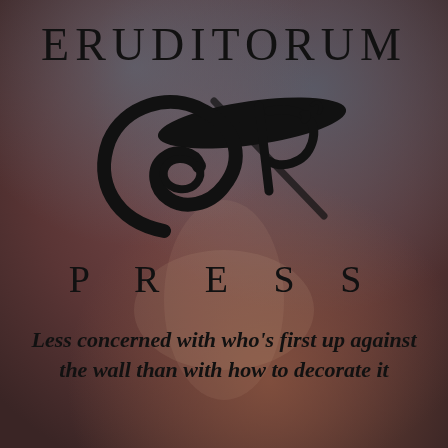[Figure (logo): Eruditorum Press logo: stylized EP monogram with swooping calligraphic letterforms, black on a muted dark reddish-brown painterly background]
ERUDITORUM
PRESS
Less concerned with who’s first up against the wall than with how to decorate it